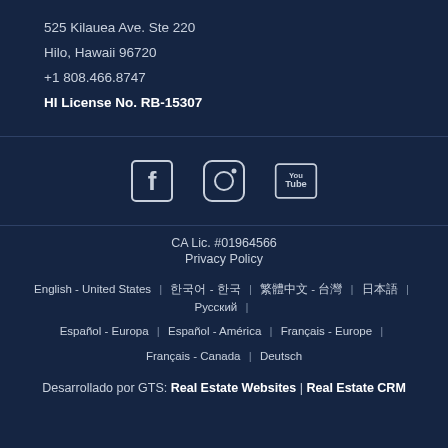525 Kilauea Ave. Ste 220
Hilo, Hawaii 96720
+1 808.466.8747
HI License No. RB-15307
[Figure (illustration): Social media icons: Facebook, Instagram, YouTube]
CA Lic. #01964566
Privacy Policy
English - United States | 한국어 - 한국 | 繁體中文 - 台灣 | 日本語 | Русский | Español - Europa | Español - América | Français - Europe | Français - Canada | Deutsch
Desarrollado por GTS: Real Estate Websites | Real Estate CRM